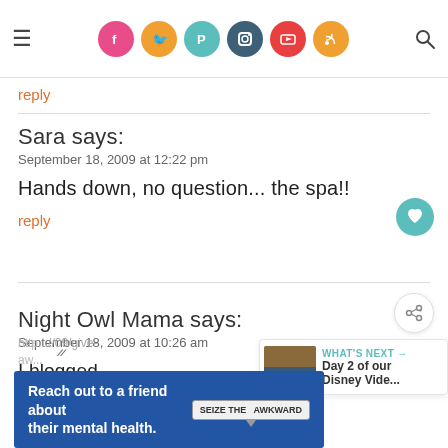Navigation bar with hamburger menu, social icons (Facebook, Twitter, Pinterest, Instagram, YouTube, RSS), and search icon
reply
Sara says:
September 18, 2009 at 12:22 pm

Hands down, no question... the spa!!

reply
Night Owl Mama says:
September 18, 2009 at 10:26 am

I blogged
[Figure (infographic): Ad banner: Reach out to a friend about their mental health. SEIZE THE AWKWARD badge with speech bubble arrow.]
http...//09/give-aw...